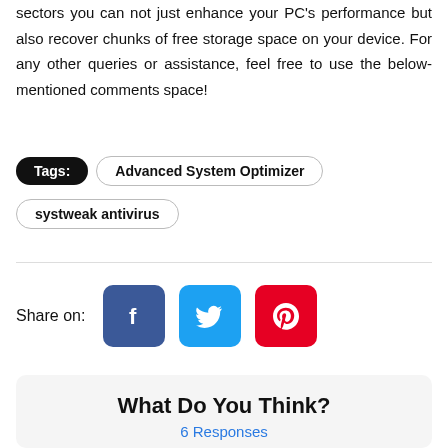sectors you can not just enhance your PC's performance but also recover chunks of free storage space on your device. For any other queries or assistance, feel free to use the below-mentioned comments space!
Tags: Advanced System Optimizer systweak antivirus
[Figure (infographic): Share on: Facebook, Twitter, Pinterest social media buttons]
What Do You Think?
6 Responses